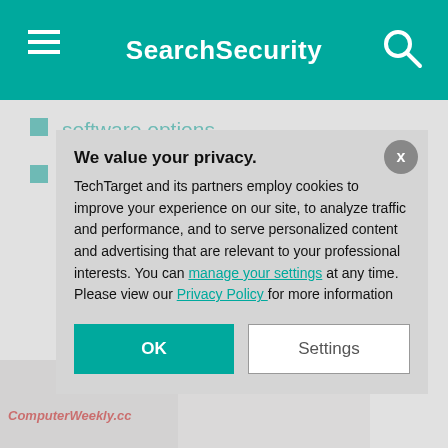SearchSecurity
software options
How to fix 8 common remote desktop connection problems
[Figure (screenshot): ComputerWeekly.com article preview thumbnail with headline 'The Subpostmasters']
Related Terms
cyber attack
A cyber attack is any... computer, computing...
... See complete defi
We value your privacy. TechTarget and its partners employ cookies to improve your experience on our site, to analyze traffic and performance, and to serve personalized content and advertising that are relevant to your professional interests. You can manage your settings at any time. Please view our Privacy Policy for more information